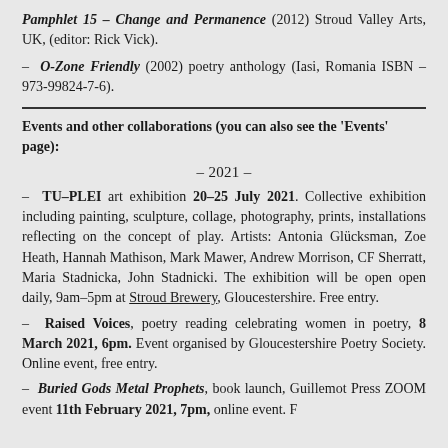Pamphlet 13 – Change and Permanence (2012) Stroud Valley Arts, UK, (editor: Rick Vick).
O-Zone Friendly (2002) poetry anthology (Iasi, Romania ISBN – 973-99824-7-6).
Events and other collaborations (you can also see the 'Events' page):
– 2021 –
– TU–PLEI art exhibition 20–25 July 2021. Collective exhibition including painting, sculpture, collage, photography, prints, installations reflecting on the concept of play. Artists: Antonia Glücksman, Zoe Heath, Hannah Mathison, Mark Mawer, Andrew Morrison, CF Sherratt, Maria Stadnicka, John Stadnicki. The exhibition will be open open daily, 9am–5pm at Stroud Brewery, Gloucestershire. Free entry.
– Raised Voices, poetry reading celebrating women in poetry, 8 March 2021, 6pm. Event organised by Gloucestershire Poetry Society. Online event, free entry.
– Buried Gods Metal Prophets, book launch, Guillemot Press ZOOM event 11th February 2021, 7pm, online event. F…